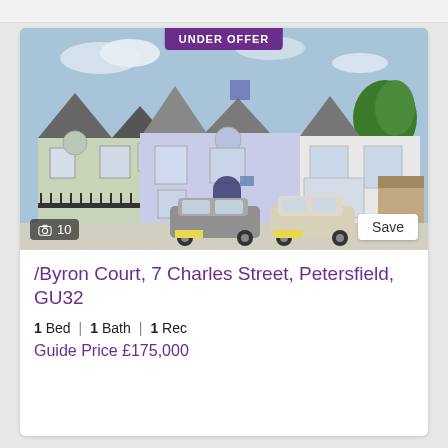[Figure (photo): Exterior photo of a Victorian-style terraced property at Byron Court, 7 Charles Street, Petersfield. Two cars parked in front. White/light blue painted facade. 'UNDER OFFER' badge at top, camera icon with '10' at bottom left, 'Save' button at bottom right.]
/Byron Court, 7 Charles Street, Petersfield, GU32
1 Bed | 1 Bath | 1 Rec
Guide Price £175,000